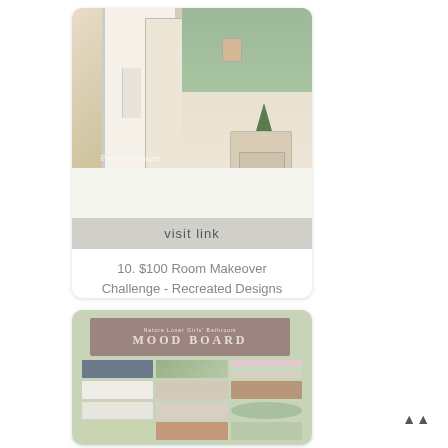[Figure (photo): Bedroom photo showing a white door, nightstand with small Christmas tree, framed art on wall, floral wallpaper, and white bedding. Watermark reads 'Recreated Designs'.]
visit link
10. $100 Room Makeover Challenge - Recreated Designs
[Figure (photo): Mood board collage for 'Nature Lover Girls Bathroom' featuring succulents, plants, bathroom fixtures, pastel color swatches, and decorative items on a sage green background.]